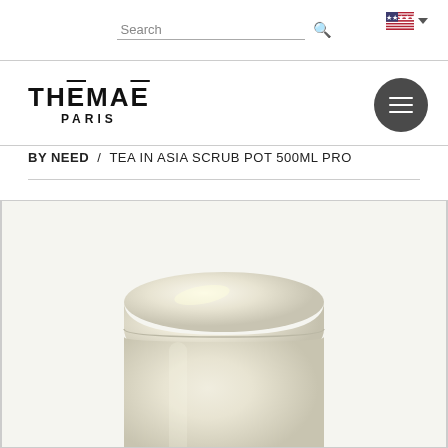Search [search icon] [US flag]
[Figure (logo): THĒMAĒ PARIS logo in bold black text with macrons over E and E]
BY NEED  /  TEA IN ASIA SCRUB POT 500ML PRO
[Figure (photo): A cream/ivory colored cylindrical scrub pot jar, partially cropped at bottom, photographed from a slightly elevated angle on a light background]